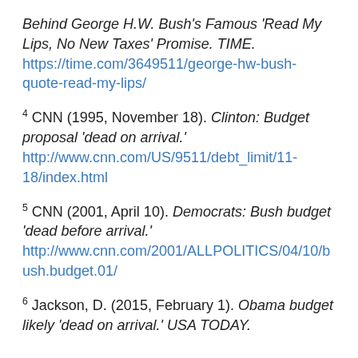Behind George H.W. Bush's Famous 'Read My Lips, No New Taxes' Promise. TIME. https://time.com/3649511/george-hw-bush-quote-read-my-lips/
4 CNN (1995, November 18). Clinton: Budget proposal 'dead on arrival.' http://www.cnn.com/US/9511/debt_limit/11-18/index.html
5 CNN (2001, April 10). Democrats: Bush budget 'dead before arrival.' http://www.cnn.com/2001/ALLPOLITICS/04/10/bush.budget.01/
6 Jackson, D. (2015, February 1). Obama budget likely 'dead on arrival.' USA TODAY.